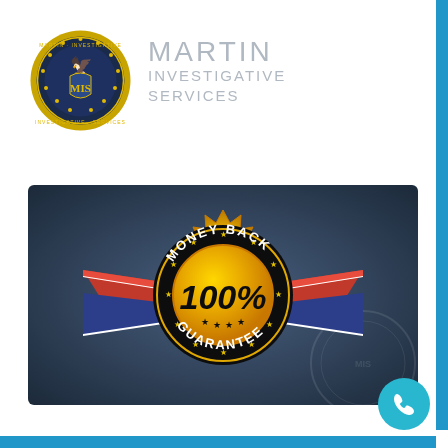[Figure (logo): Martin Investigative Services badge/seal logo with eagle and shield, circular design with gold/dark blue coloring]
MARTIN INVESTIGATIVE SERVICES
[Figure (illustration): Money Back Guarantee 100% badge - gold starburst seal on dark blue-grey gradient background with red/white/blue ribbon banner]